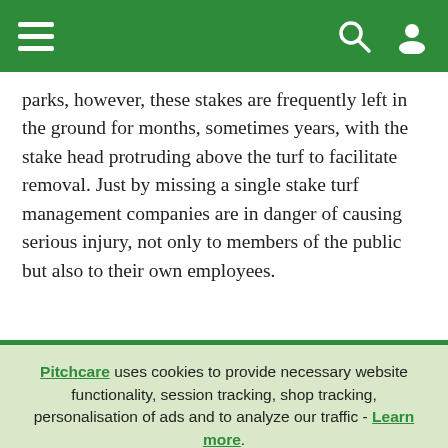Navigation bar with hamburger menu, search icon, and user icon
parks, however, these stakes are frequently left in the ground for months, sometimes years, with the stake head protruding above the turf to facilitate removal. Just by missing a single stake turf management companies are in danger of causing serious injury, not only to members of the public but also to their own employees.
Pitchcare uses cookies to provide necessary website functionality, session tracking, shop tracking, personalisation of ads and to analyze our traffic - Learn more. By using our website, you agree to our Privacy Policy and our cookies usage.
Accept